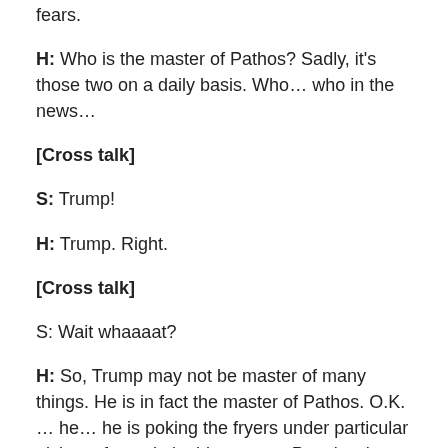fears.
H: Who is the master of Pathos? Sadly, it's those two on a daily basis. Who… who in the news…
[Cross talk]
S: Trump!
H: Trump. Right.
[Cross talk]
S: Wait whaaaat?
H: So, Trump may not be master of many things. He is in fact the master of Pathos. O.K. … he… he is poking the fryers under particular niches of people in this country. People who are anti-Mexican, people who are anti-Muslim, people who are anti-woman.